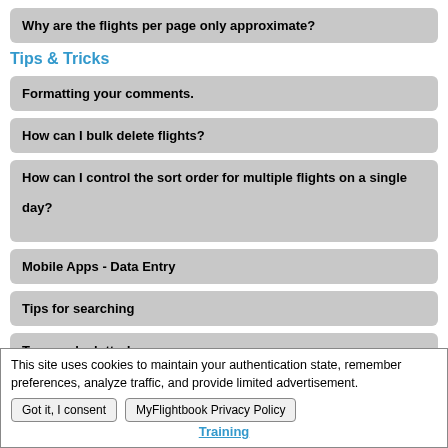Why are the flights per page only approximate?
Tips & Tricks
Formatting your comments.
How can I bulk delete flights?
How can I control the sort order for multiple flights on a single day?
Mobile Apps - Data Entry
Tips for searching
Too much clutter!
This site uses cookies to maintain your authentication state, remember preferences, analyze traffic, and provide limited advertisement.
Got it, I consent | MyFlightbook Privacy Policy
Training